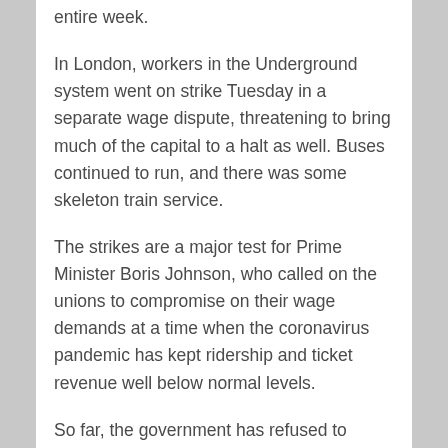entire week.
In London, workers in the Underground system went on strike Tuesday in a separate wage dispute, threatening to bring much of the capital to a halt as well. Buses continued to run, and there was some skeleton train service.
The strikes are a major test for Prime Minister Boris Johnson, who called on the unions to compromise on their wage demands at a time when the coronavirus pandemic has kept ridership and ticket revenue well below normal levels.
So far, the government has refused to intervene directly in the talks, which are between the unions and Network Rail, a company that manages the